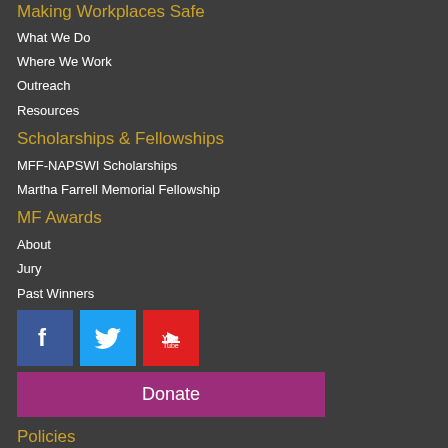Making Workplaces Safe
What We Do
Where We Work
Outreach
Resources
Scholarships & Fellowships
MFF-NAPSWI Scholarships
Martha Farrell Memorial Fellowship
MF Awards
About
Jury
Past Winners
[Figure (infographic): Social media buttons: Facebook (blue), Twitter (light blue), YouTube (red), and a Donate button (purple)]
Policies
Privacy Policy
Term & Conditions
Refund Policy